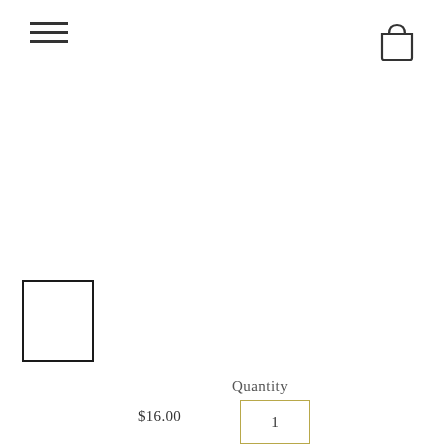[Figure (illustration): Hamburger menu icon (three horizontal lines)]
[Figure (illustration): Shopping bag icon outline]
[Figure (photo): Small product thumbnail image with black border, empty/white interior]
Quantity
$16.00
1